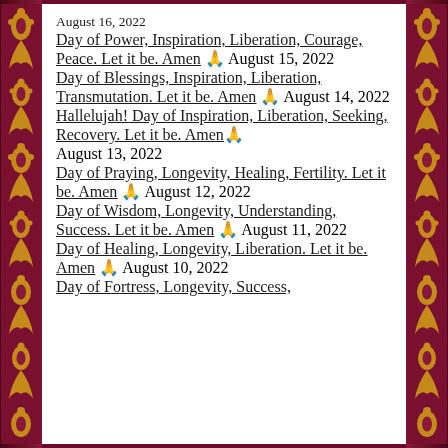August 16, 2022
Day of Power, Inspiration, Liberation, Courage, Peace. Let it be. Amen 🙏 August 15, 2022
Day of Blessings, Inspiration, Liberation, Transmutation. Let it be. Amen 🙏 August 14, 2022
Hallelujah! Day of Inspiration, Liberation, Seeking, Recovery. Let it be. Amen 🙏 August 13, 2022
Day of Praying, Longevity, Healing, Fertility. Let it be. Amen 🙏 August 12, 2022
Day of Wisdom, Longevity, Understanding, Success. Let it be. Amen 🙏 August 11, 2022
Day of Healing, Longevity, Liberation. Let it be. Amen 🙏 August 10, 2022
Day of Fortress, Longevity, Success,